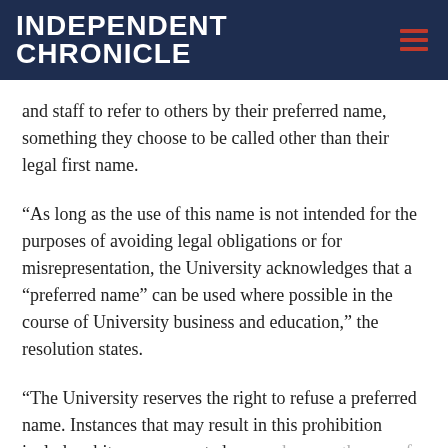INDEPENDENT CHRONICLE
and staff to refer to others by their preferred name, something they choose to be called other than their legal first name.
“As long as the use of this name is not intended for the purposes of avoiding legal obligations or for misrepresentation, the University acknowledges that a “preferred name” can be used where possible in the course of University business and education,” the resolution states.
“The University reserves the right to refuse a preferred name. Instances that may result in this prohibition include arbitrary or repeated name changes; the use of profane words; names that may be used for fraudulent purposes; or other.